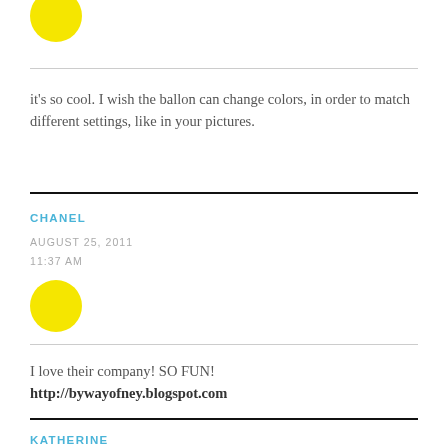[Figure (illustration): Yellow circle avatar at top of page (partially visible)]
it's so cool. I wish the ballon can change colors, in order to match different settings, like in your pictures.
CHANEL
AUGUST 25, 2011
11:37 AM
[Figure (illustration): Yellow circle avatar for Chanel comment]
I love their company! SO FUN!

http://bywayofney.blogspot.com
KATHERINE
AUGUST 25, 2011
[Figure (illustration): Yellow circle avatar for Katherine comment (partially visible at bottom)]